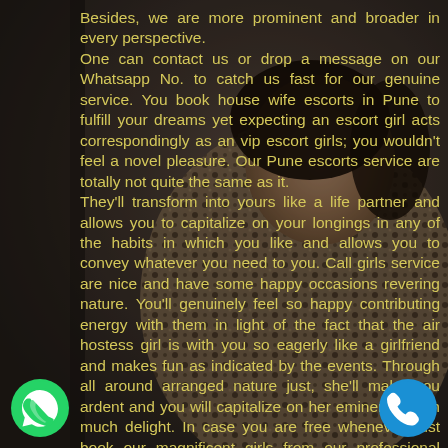[Figure (photo): Background photo of a woman lying down, wearing leopard print clothing, with a dark blurred background.]
Besides, we are more prominent and broader in every perspective. One can contact us or drop a message on our Whatsapp No. to catch us fast for our genuine service. You book house wife escorts in Pune to fulfill your dreams yet expecting an escort girl acts correspondingly as an vip escort girls; you wouldn't feel a novel pleasure. Our Pune escorts service are totally not quite the same as it. They'll transform into yours like a life partner and allows you to capitalize on your longings in any of the habits in which you like and allows you to convey whatever you need to you. Call girls service are nice and have some happy occasions revering nature. You'll genuinely feel so happy contributing energy with them in light of the fact that the air hostess girl is with you so eagerly like a girlfriend and makes fun as indicated by the events. Through all around arranged nature just, she'll make you ardent and you will capitalize on her eminence, with much delight. In case you are free whenever, just book our magnificent girls from our professional escorts show.